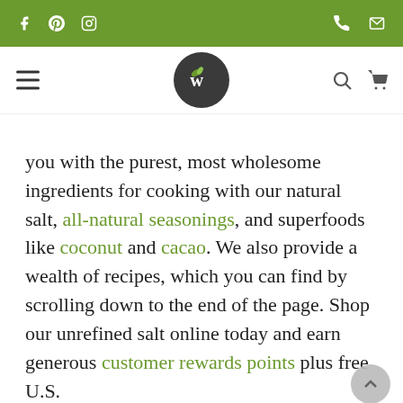Website header with social icons (Facebook, Pinterest, Instagram) on green bar, and phone/email icons on right
[Figure (logo): Dark circular logo with stylized W and leaf icon]
you with the purest, most wholesome ingredients for cooking with our natural salt, all-natural seasonings, and superfoods like coconut and cacao. We also provide a wealth of recipes, which you can find by scrolling down to the end of the page. Shop our unrefined salt online today and earn generous customer rewards points plus free U.S. ng for every order over $49.